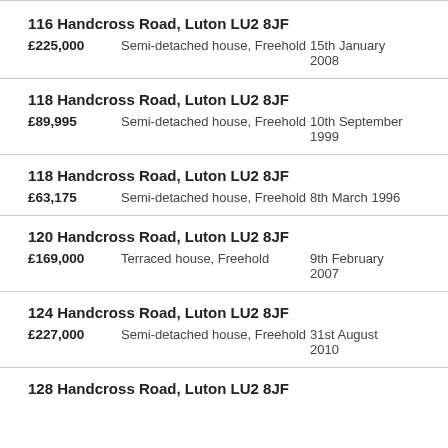116 Handcross Road, Luton LU2 8JF
£225,000   Semi-detached house, Freehold   15th January 2008
118 Handcross Road, Luton LU2 8JF
£89,995   Semi-detached house, Freehold   10th September 1999
118 Handcross Road, Luton LU2 8JF
£63,175   Semi-detached house, Freehold   8th March 1996
120 Handcross Road, Luton LU2 8JF
£169,000   Terraced house, Freehold   9th February 2007
124 Handcross Road, Luton LU2 8JF
£227,000   Semi-detached house, Freehold   31st August 2010
128 Handcross Road, Luton LU2 8JF